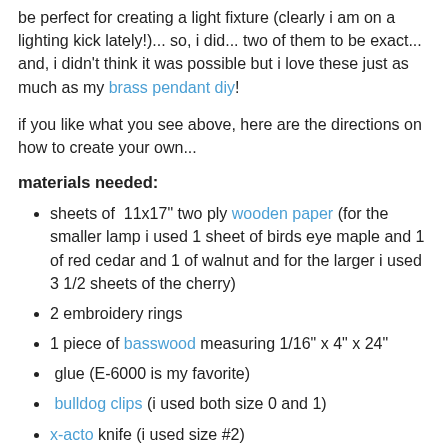be perfect for creating a light fixture (clearly i am on a lighting kick lately!)... so, i did... two of them to be exact... and, i didn't think it was possible but i love these just as much as my brass pendant diy!
if you like what you see above, here are the directions on how to create your own...
materials needed:
sheets of  11x17" two ply wooden paper (for the smaller lamp i used 1 sheet of birds eye maple and 1 of red cedar and 1 of walnut and for the larger i used 3 1/2 sheets of the cherry)
2 embroidery rings
1 piece of basswood measuring 1/16" x 4" x 24"
glue (E-6000 is my favorite)
bulldog clips (i used both size 0 and 1)
x-acto knife (i used size #2)
pencil